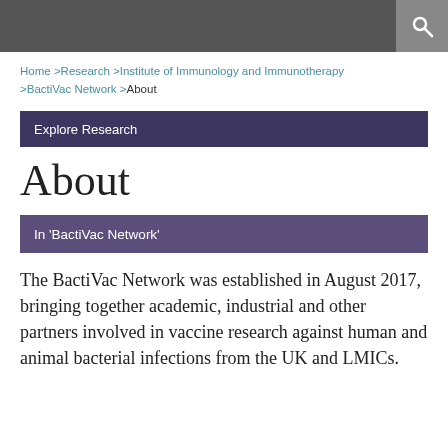Home > Research > Institute of Immunology and Immunotherapy > BactiVac Network > About
Explore Research
About
In 'BactiVac Network'
The BactiVac Network was established in August 2017, bringing together academic, industrial and other partners involved in vaccine research against human and animal bacterial infections from the UK and LMICs.